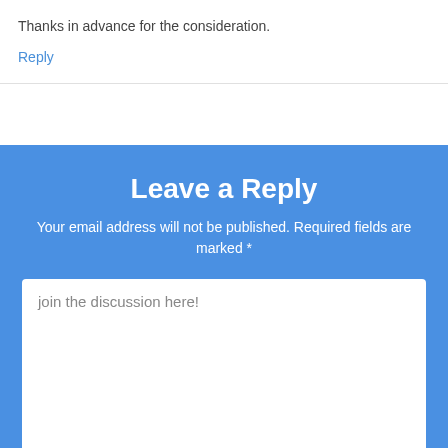Thanks in advance for the consideration.
Reply
Leave a Reply
Your email address will not be published. Required fields are marked *
join the discussion here!